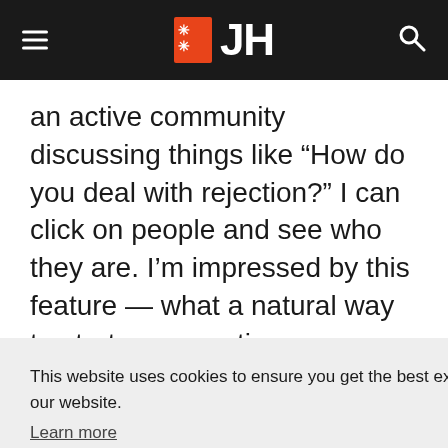JH (logo)
an active community discussing things like “How do you deal with rejection?” I can click on people and see who they are. I’m impressed by this feature — what a natural way to start conversations
This website uses cookies to ensure you get the best experience on our website. Learn more Got it!
ions transforming their lives and making over